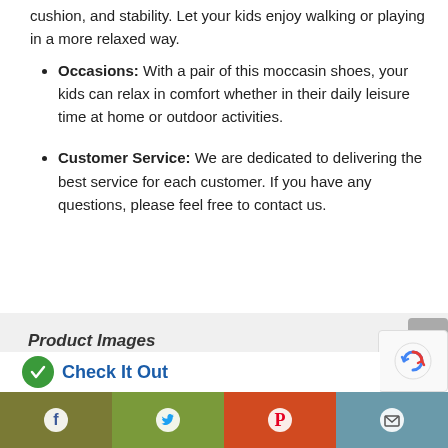cushion, and stability. Let your kids enjoy walking or playing in a more relaxed way.
Occasions: With a pair of this moccasin shoes, your kids can relax in comfort whether in their daily leisure time at home or outdoor activities.
Customer Service: We are dedicated to delivering the best service for each customer. If you have any questions, please feel free to contact us.
Product Images
[Figure (screenshot): Social sharing bar at bottom with Facebook, Twitter, Pinterest, and Email icons, plus a partial Check It Out section and reCAPTCHA badge]